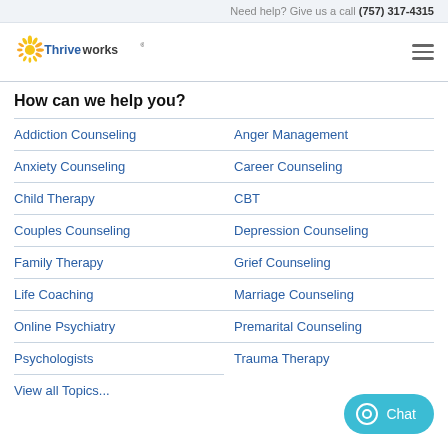Need help? Give us a call (757) 317-4315
[Figure (logo): Thriveworks logo with sunburst icon and blue text]
How can we help you?
Addiction Counseling
Anger Management
Anxiety Counseling
Career Counseling
Child Therapy
CBT
Couples Counseling
Depression Counseling
Family Therapy
Grief Counseling
Life Coaching
Marriage Counseling
Online Psychiatry
Premarital Counseling
Psychologists
Trauma Therapy
View all Topics...